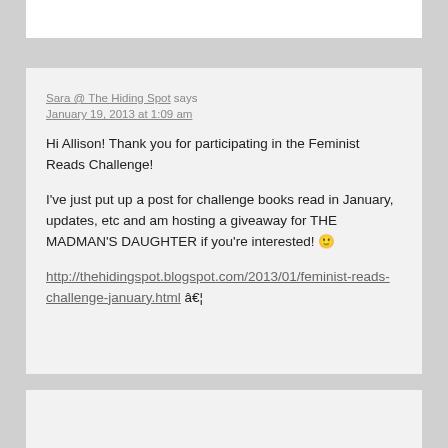Sara @ The Hiding Spot says
January 19, 2013 at 1:09 am
Hi Allison! Thank you for participating in the Feminist Reads Challenge!

I've just put up a post for challenge books read in January, updates, etc and am hosting a giveaway for THE MADMAN'S DAUGHTER if you're interested! 🙂

http://thehidingspot.blogspot.com/2013/01/feminist-reads-challenge-january.html â€¦